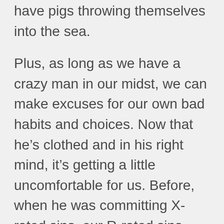have pigs throwing themselves into the sea.
Plus, as long as we have a crazy man in our midst, we can make excuses for our own bad habits and choices. Now that he’s clothed and in his right mind, it’s getting a little uncomfortable for us. Before, when he was committing X-rated sins, our R-rated sins weren’t too bad. Now that’s he’s a new man, it’s making us look bad.
“Jesus, we’d prefer it if you left!”
Will that be our attitude when Jesus comes to visit us afresh? Will we say, “Lord, that’s a bit too much! Things here weren’t so bad before,